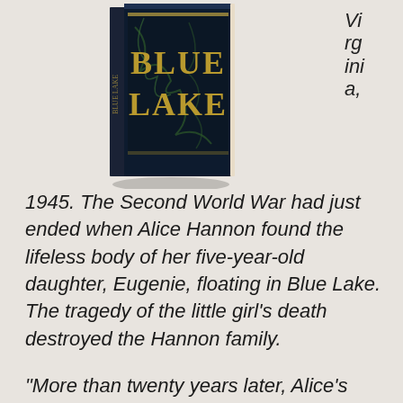[Figure (photo): Book cover of 'Blue Lake' with dark navy background and gold lettering, shown as a 3D book object]
Virginia,
1945. The Second World War had just ended when Alice Hannon found the lifeless body of her five-year-old daughter, Eugenie, floating in Blue Lake. The tragedy of the little girl's death destroyed the Hannon family.
“More than twenty years later, Alice’s youngest daughter, Regina, returns home after a long estrangement because her father is dying. She is